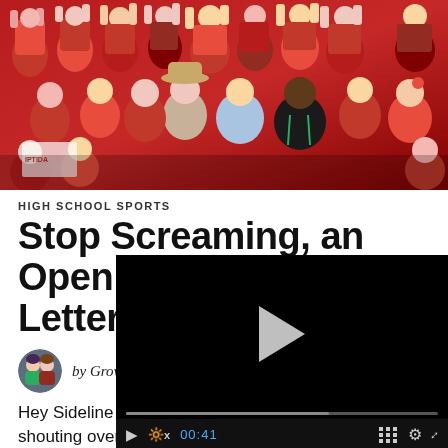[Figure (photo): A large crowd of fans in red clothing and body paint at a high school sports event, cheering in stadium stands.]
HIGH SCHOOL SPORTS
Stop Screaming, an Open Letter to S
by Grown and Flo
[Figure (screenshot): Video player overlay with play button, progress bar showing 00:41 timestamp, and control icons including volume mute, grid, settings, and fullscreen buttons.]
Hey Sideline Coac shouting over the rest of us, calling out players by name and number, critiquing, criticizing, badgering can you all just cool it? I'm not saying don't